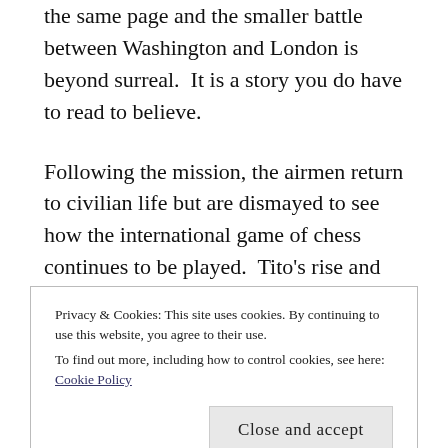the same page and the smaller battle between Washington and London is beyond surreal.  It is a story you do have to read to believe.

Following the mission, the airmen return to civilian life but are dismayed to see how the international game of chess continues to be played.  Tito's rise and Mihailovich's demise are some of the darker moments in the book. The airmen voice their disapproval with the official
Privacy & Cookies: This site uses cookies. By continuing to use this website, you agree to their use.
To find out more, including how to control cookies, see here: Cookie Policy
Close and accept
the airmen, some of whom were alive at the time